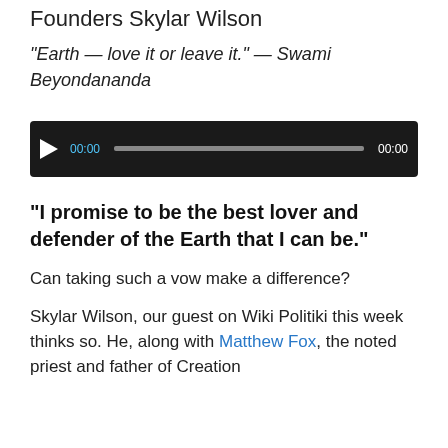Founders Skylar Wilson
“Earth — love it or leave it.” — Swami Beyondananda
[Figure (other): Audio player with play button, 00:00 start time, progress bar, and 00:00 end time on dark background]
“I promise to be the best lover and defender of the Earth that I can be.”
Can taking such a vow make a difference?
Skylar Wilson, our guest on Wiki Politiki this week thinks so. He, along with Matthew Fox, the noted priest and father of Creation